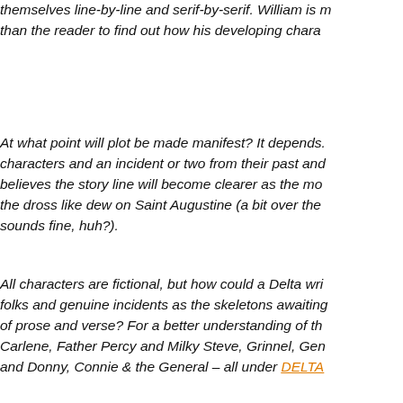themselves line-by-line and serif-by-serif. William is more eager than the reader to find out how his developing chara...
At what point will plot be made manifest? It depends. characters and an incident or two from their past and believes the story line will become clearer as the mo... the dross like dew on Saint Augustine (a bit over the sounds fine, huh?).
All characters are fictional, but how could a Delta wri... folks and genuine incidents as the skeletons awaiting... of prose and verse? For a better understanding of th... Carlene, Father Percy and Milky Steve, Grinnel, Gen... and Donny, Connie & the General – all under DELTA...
Share and Enjoy !
[Figure (other): Social media sharing icons row: Telegram, Email, Print, Google, Pinterest, WhatsApp, LinkedIn, PDF/Acrobat, Messenger, Facebook]